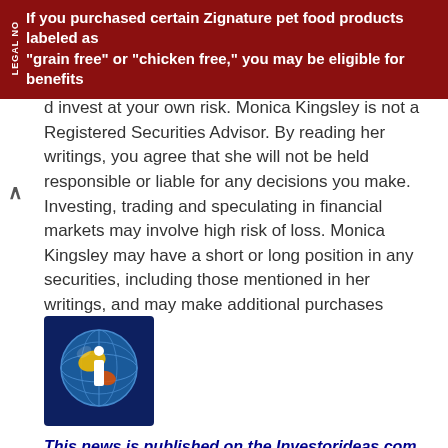If you purchased certain Zignature pet food products labeled as “grain free” or “chicken free,” you may be eligible for benefits
d invest at your own risk. Monica Kingsley is not a Registered Securities Advisor. By reading her writings, you agree that she will not be held responsible or liable for any decisions you make. Investing, trading and speculating in financial markets may involve high risk of loss. Monica Kingsley may have a short or long position in any securities, including those mentioned in her writings, and may make additional purchases and/or sales of those securities without notice.
More Info:
[Figure (logo): Investorideas.com globe logo with stylized 'i' in blue and yellow/orange colors]
This news is published on the Investorideas.com Newswire - a global digital news source for investors and business leaders